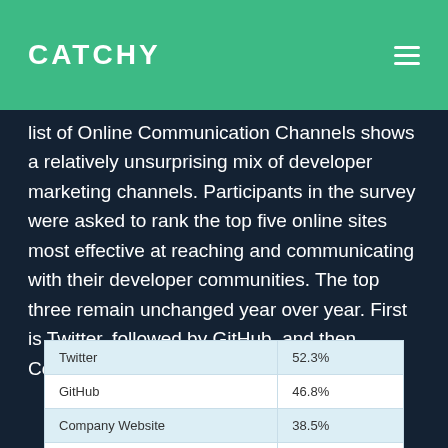CATCHY
list of Online Communication Channels shows a relatively unsurprising mix of developer marketing channels. Participants in the survey were asked to rank the top five online sites most effective at reaching and communicating with their developer communities. The top three remain unchanged year over year. First is Twitter, followed by GitHub, and then Company Website.
| Twitter | 52.3% |
| GitHub | 46.8% |
| Company Website | 38.5% |
| YouTube | 32.1% |
| Slack | 31.2% |